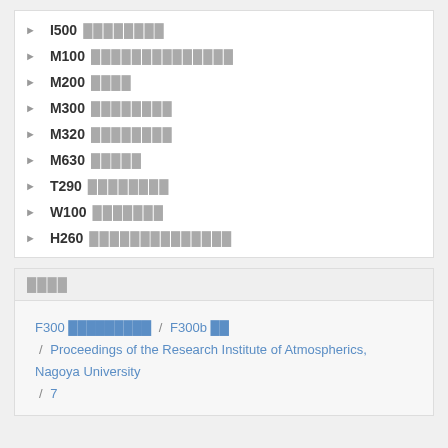I500 ████████
M100 ██████████████
M200 ████
M300 ████████
M320 ████████
M630 █████
T290 ████████
W100 ███████
H260 ██████████████
████
F300 █████████ / F300b ██ / Proceedings of the Research Institute of Atmospherics, Nagoya University / 7